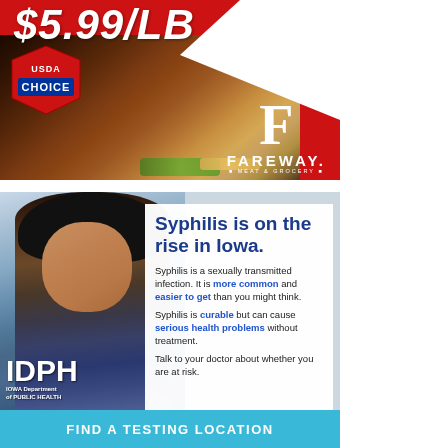[Figure (advertisement): Fareway Meat & Grocery advertisement showing a grilled steak with price $5.99/LB, USDA Choice badge, and Fareway logo on red background]
[Figure (advertisement): Iowa Department of Public Health (IDPH) advertisement about syphilis awareness in Iowa with photo of a woman, text about syphilis being on the rise, and a 'Find a Testing Location' CTA button]